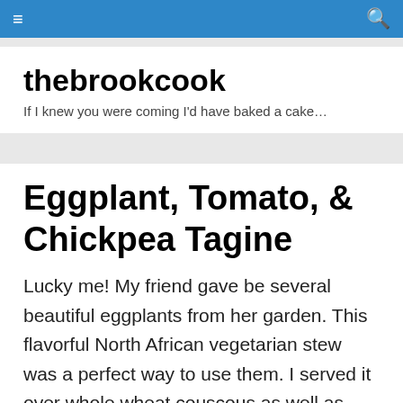thebrookcook — navigation bar
thebrookcook
If I knew you were coming I'd have baked a cake…
Eggplant, Tomato, & Chickpea Tagine
Lucky me! My friend gave be several beautiful eggplants from her garden. This flavorful North African vegetarian stew was a perfect way to use them. I served it over whole wheat couscous as well as with warm flatbread to soak up all of the delicious sauce.